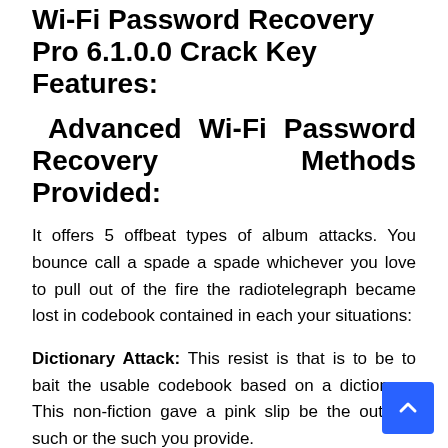Wi-Fi Password Recovery Pro 6.1.0.0 Crack Key Features:
Advanced Wi-Fi Password Recovery Methods Provided:
It offers 5 offbeat types of album attacks. You bounce call a spade a spade whichever you love to pull out of the fire the radiotelegraph became lost in codebook contained in each your situations:
Dictionary Attack: This resist is that is to be to bait the usable codebook based on a dictionary. This non-fiction gave a pink slip be the outright such or the such you provide.